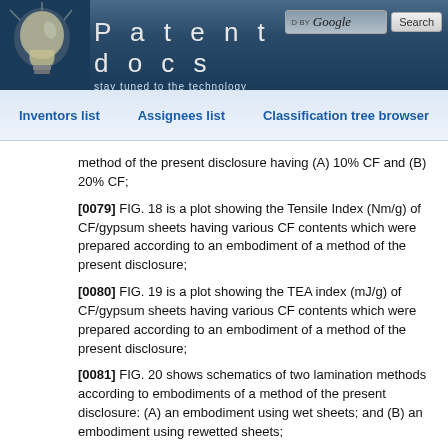Patentdocs — stay tuned to the technology
Inventors list   Assignees list   Classification tree browser
method of the present disclosure having (A) 10% CF and (B) 20% CF;
[0079] FIG. 18 is a plot showing the Tensile Index (Nm/g) of CF/gypsum sheets having various CF contents which were prepared according to an embodiment of a method of the present disclosure;
[0080] FIG. 19 is a plot showing the TEA index (mJ/g) of CF/gypsum sheets having various CF contents which were prepared according to an embodiment of a method of the present disclosure;
[0081] FIG. 20 shows schematics of two lamination methods according to embodiments of a method of the present disclosure: (A) an embodiment using wet sheets; and (B) an embodiment using rewetted sheets;
[0082] FIG. 21 shows exemplary photographs of (A) laminates with various number of layers (from bottom to top: >20, 20, 10, 5 and 3) prepared